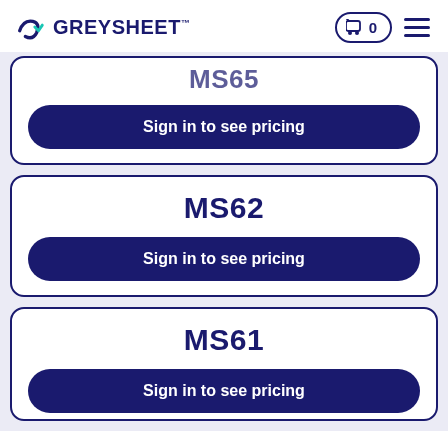GREYSHEET
MS65
Sign in to see pricing
MS62
Sign in to see pricing
MS61
Sign in to see pricing